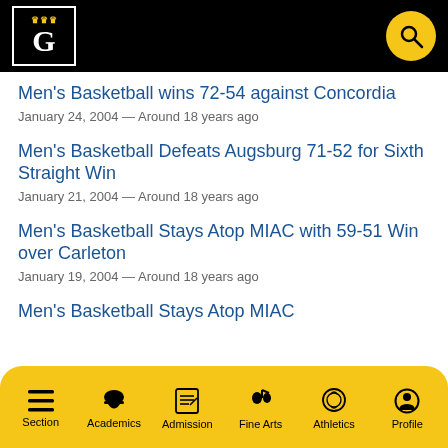Gustavus Adolphus College
Men's Basketball wins 72-54 against Concordia
January 24, 2004 — Around 18 years ago
Men's Basketball Defeats Augsburg 71-52 for Sixth Straight Win
January 21, 2004 — Around 18 years ago
Men's Basketball Stays Atop MIAC with 59-51 Win over Carleton
January 19, 2004 — Around 18 years ago
Men's Basketball Stays Atop MIAC
Section | Academics | Admission | Fine Arts | Athletics | Profile